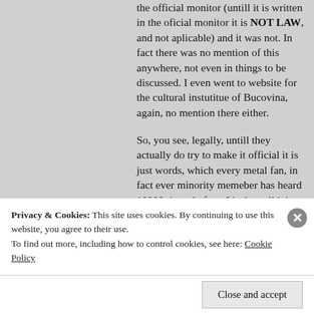the official monitor (untill it is written in the oficial monitor it is NOT LAW, and not aplicable) and it was not. In fact there was no mention of this anywhere, not even in things to be discussed. I even went to website for the cultural instutitue of Bucovina, again, no mention there either.

So, you see, legally, untill they actually do try to make it official it is just words, which every metal fan, in fact ever minority memeber has heard 10000 times before. It's the politicians trying to please the goat and the cabbage (as we say) before the vote (even if it's the parliament vote that happens, the country
Privacy & Cookies: This site uses cookies. By continuing to use this website, you agree to their use.
To find out more, including how to control cookies, see here: Cookie Policy
Close and accept